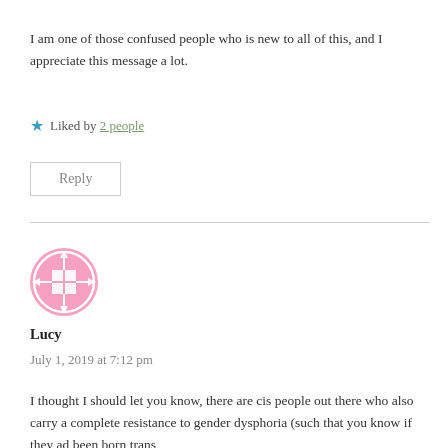I am one of those confused people who is new to all of this, and I appreciate this message a lot.
★ Liked by 2 people
Reply
Lucy
July 1, 2019 at 7:12 pm
I thought I should let you know, there are cis people out there who also carry a complete resistance to gender dysphoria (such that you know if they ad been born trans